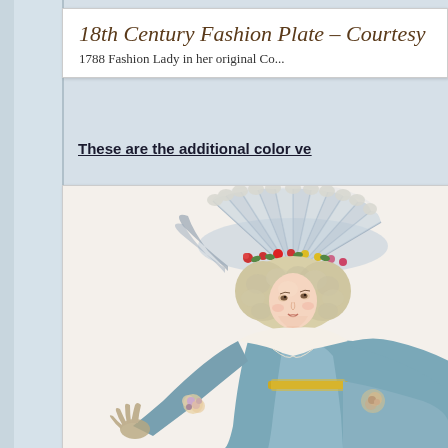18th Century Fashion Plate – Courtes...
1788 Fashion Lady in her original Co...
These are the additional color ve...
[Figure (illustration): 18th century fashion plate illustration of a 1788 fashion lady in original colors, wearing an elaborate large hat with feathers and flowers, blue dress with white fichu, holding flowers, with powdered wig]